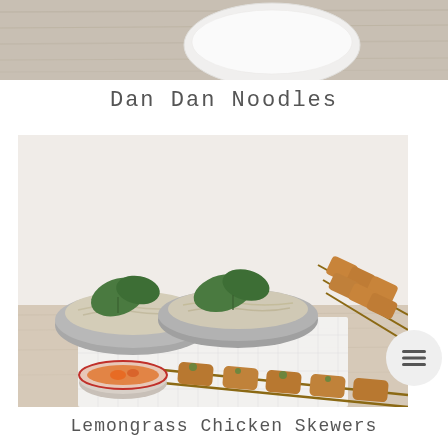[Figure (photo): Top partial photo showing a white ceramic ramekin/bowl on a wooden surface, cropped at top]
Dan Dan Noodles
[Figure (photo): Food photo showing two gray bowls of noodles garnished with large green basil leaves, chicken skewers on the right, a small round bowl with orange dipping sauce with a red-rimmed edge, all arranged on a white checkered cloth on a light wooden table. Light gray-white background.]
Lemongrass Chicken Skewers